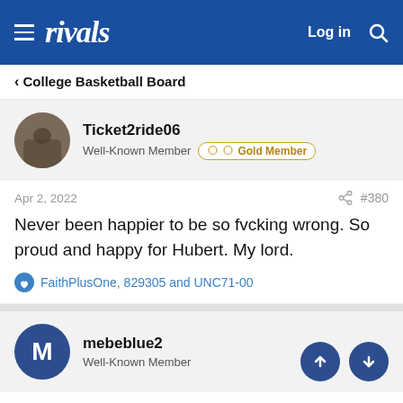rivals — Log in
< College Basketball Board
Ticket2ride06
Well-Known Member  Gold Member
Apr 2, 2022  #380
Never been happier to be so fvcking wrong. So proud and happy for Hubert. My lord.
FaithPlusOne, 829305 and UNC71-00
mebeblue2
Well-Known Member